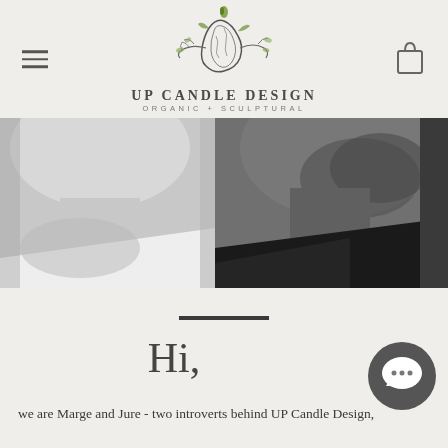[Figure (logo): UP Candle Design logo with illustrated candle and organic leaf motifs, tagline ORGANIC + SCULPTURAL]
[Figure (photo): Black and white photo of two people: left person in white shirt (Marge) and right person with beard in dark jacket (Jure)]
Hi,
we are Marge and Jure - two introverts behind UP Candle Design,